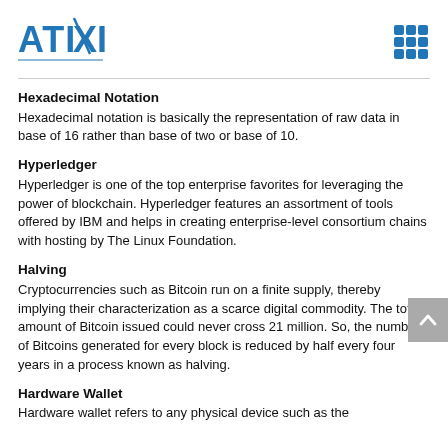[Figure (logo): ATIXI logo in blue with stylized X character]
[Figure (other): Blue grid/menu icon (3x3 squares) in top right corner]
Hexadecimal Notation
Hexadecimal notation is basically the representation of raw data in base of 16 rather than base of two or base of 10.
Hyperledger
Hyperledger is one of the top enterprise favorites for leveraging the power of blockchain. Hyperledger features an assortment of tools offered by IBM and helps in creating enterprise-level consortium chains with hosting by The Linux Foundation.
Halving
Cryptocurrencies such as Bitcoin run on a finite supply, thereby implying their characterization as a scarce digital commodity. The total amount of Bitcoin issued could never cross 21 million. So, the number of Bitcoins generated for every block is reduced by half every four years in a process known as halving.
Hardware Wallet
Hardware wallet refers to any physical device such as the